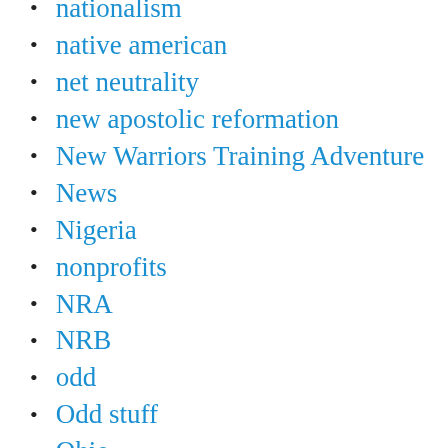nationalism
native american
net neutrality
new apostolic reformation
New Warriors Training Adventure
News
Nigeria
nonprofits
NRA
NRB
odd
Odd stuff
Ohio
Paige Patterson
Pakistan
pandas
parents rights